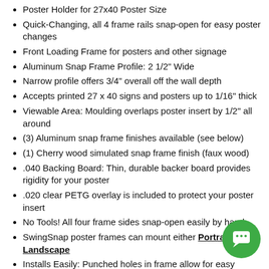Poster Holder for 27x40 Poster Size
Quick-Changing, all 4 frame rails snap-open for easy poster changes
Front Loading Frame for posters and other signage
Aluminum Snap Frame Profile: 2 1/2" Wide
Narrow profile offers 3/4" overall off the wall depth
Accepts printed 27 x 40 signs and posters up to 1/16" thick
Viewable Area: Moulding overlaps poster insert by 1/2" all around
(3) Aluminum snap frame finishes available (see below)
(1) Cherry wood simulated snap frame finish (faux wood)
.040 Backing Board: Thin, durable backer board provides rigidity for your poster
.020 clear PETG overlay is included to protect your poster insert
No Tools! All four frame sides snap-open easily by hand
SwingSnap poster frames can mount either Portrait or Landscape
Installs Easily: Punched holes in frame allow for easy surface mounting
Mounting hardware and installation instructions included (truncated)